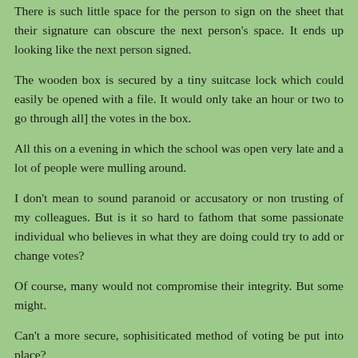There is such little space for the person to sign on the sheet that their signature can obscure the next person's space. It ends up looking like the next person signed.
The wooden box is secured by a tiny suitcase lock which could easily be opened with a file. It would only take an hour or two to go through all] the votes in the box.
All this on a evening in which the school was open very late and a lot of people were mulling around.
I don't mean to sound paranoid or accusatory or non trusting of my colleagues. But is it so hard to fathom that some passionate individual who believes in what they are doing could try to add or change votes?
Of course, many would not compromise their integrity. But some might.
Can't a more secure, sophisiticated method of voting be put into place?
If everyone is so trusting of the AAA count, then how come we